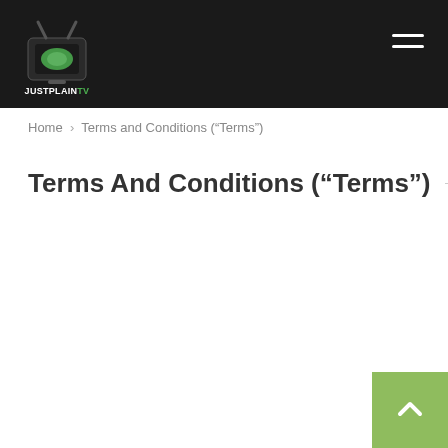JUSTPLAINTV — navigation header with logo and hamburger menu
Home › Terms and Conditions (“Terms”)
Terms And Conditions (“Terms”)